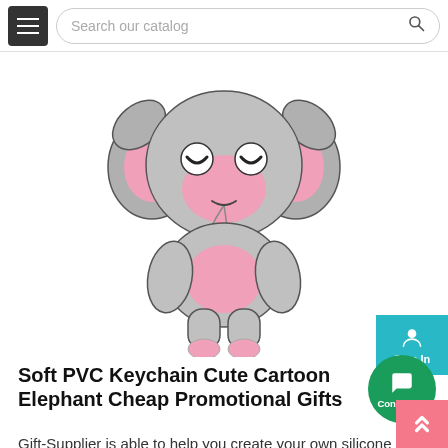Search our catalog
[Figure (illustration): Cute cartoon elephant soft PVC keychain figure — gray body with pink ears, nose/trunk, belly, and feet; kawaii style with big eyes and smile]
Soft PVC Keychain Cute Cartoon Elephant Cheap Promotional Gifts
Gift-Supplier is able to help you create your own silicone soft PVC keychain design and put into mass production. Free Design, Low MOQ! This will